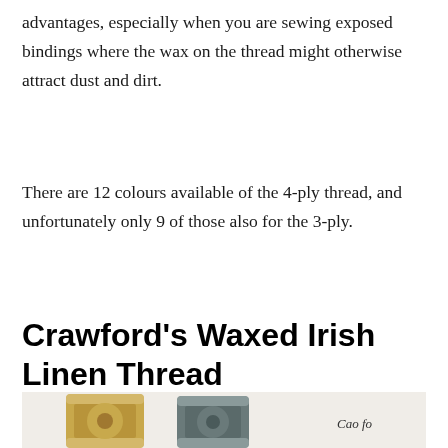advantages, especially when you are sewing exposed bindings where the wax on the thread might otherwise attract dust and dirt.
There are 12 colours available of the 4-ply thread, and unfortunately only 9 of those also for the 3-ply.
Crawford’s Waxed Irish Linen Thread
[Figure (photo): Photo showing spools of Crawford's Waxed Irish Linen Thread, partially visible at bottom of page, with caption text partially visible reading 'Cao fo']